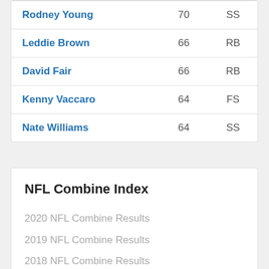| Rodney Young | 70 | SS |
| Leddie Brown | 66 | RB |
| David Fair | 66 | RB |
| Kenny Vaccaro | 64 | FS |
| Nate Williams | 64 | SS |
NFL Combine Index
2020 NFL Combine Results
2019 NFL Combine Results
2018 NFL Combine Results
2017 NFL Combine Results
2016 NFL Combine Results